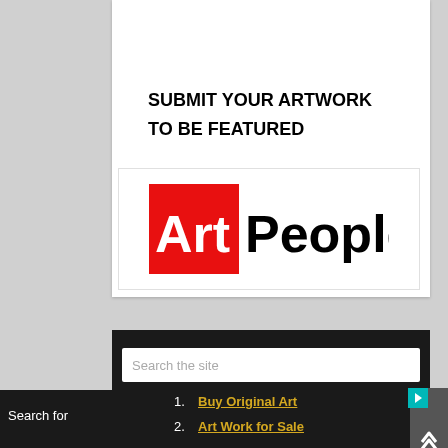CLICK HERE TO JOIN OUR ARTISTS
SUBMIT YOUR ARTWORK TO BE FEATURED
[Figure (logo): ArtPeople logo: red square with white 'Art' text and black 'People' text]
Search the site
Search for
1. Buy Original Art
2. Art Work for Sale